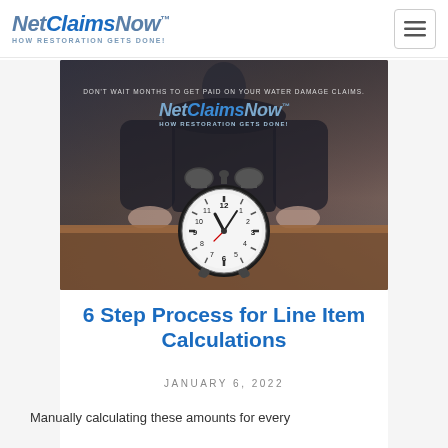NetClaimsNow™ HOW RESTORATION GETS DONE!
[Figure (photo): Hero image with a person in dark suit behind a vintage alarm clock on a wooden table, overlaid with NetClaimsNow logo and text 'DON'T WAIT MONTHS TO GET PAID ON YOUR WATER DAMAGE CLAIMS. NetClaimsNow™ HOW RESTORATION GETS DONE!']
6 Step Process for Line Item Calculations
JANUARY 6, 2022
Manually calculating these amounts for every